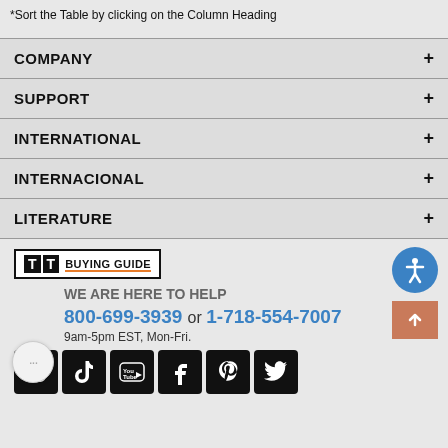*Sort the Table by clicking on the Column Heading
COMPANY +
SUPPORT +
INTERNATIONAL +
INTERNACIONAL +
LITERATURE +
[Figure (logo): TT Buying Guide logo in a bordered box]
WE ARE HERE TO HELP
800-699-3939 or 1-718-554-7007
9am-5pm EST, Mon-Fri.
[Figure (infographic): Social media icons: Instagram, TikTok, YouTube, Facebook, Pinterest, Twitter]